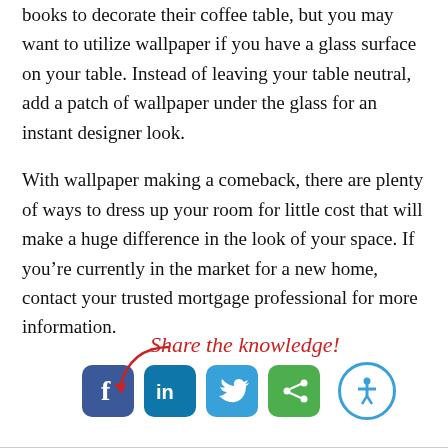books to decorate their coffee table, but you may want to utilize wallpaper if you have a glass surface on your table. Instead of leaving your table neutral, add a patch of wallpaper under the glass for an instant designer look.

With wallpaper making a comeback, there are plenty of ways to dress up your room for little cost that will make a huge difference in the look of your space. If you’re currently in the market for a new home, contact your trusted mortgage professional for more information.
[Figure (infographic): Share the knowledge! text in red italic with a red curved arrow pointing down to social media icons for Facebook, LinkedIn, Twitter, and a green icon, plus an accessibility button circle on the right]